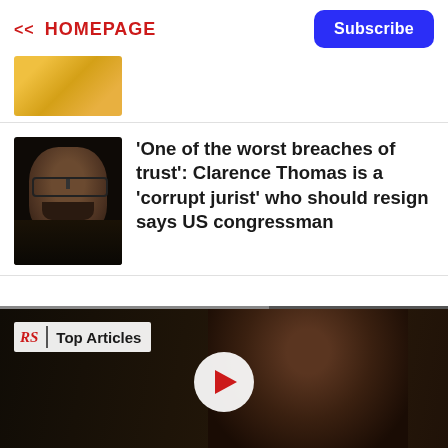<< HOMEPAGE
[Figure (photo): Partially cropped photo showing yellow/orange background, top of image]
[Figure (photo): Photo of Clarence Thomas in judicial robes against dark background]
'One of the worst breaches of trust': Clarence Thomas is a 'corrupt jurist' who should resign says US congressman
[Figure (screenshot): Video thumbnail showing a man's face on dark background with RS Top Articles badge and play button overlay]